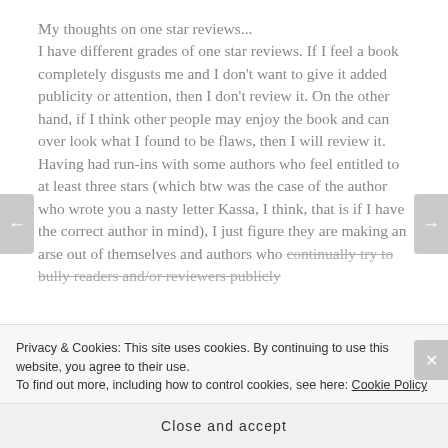My thoughts on one star reviews...
I have different grades of one star reviews. If I feel a book completely disgusts me and I don't want to give it added publicity or attention, then I don't review it. On the other hand, if I think other people may enjoy the book and can over look what I found to be flaws, then I will review it.
Having had run-ins with some authors who feel entitled to at least three stars (which btw was the case of the author who wrote you a nasty letter Kassa, I think, that is if I have the correct author in mind), I just figure they are making an arse out of themselves and authors who continually try to bully readers and/or reviewers publicly
Privacy & Cookies: This site uses cookies. By continuing to use this website, you agree to their use.
To find out more, including how to control cookies, see here: Cookie Policy
Close and accept